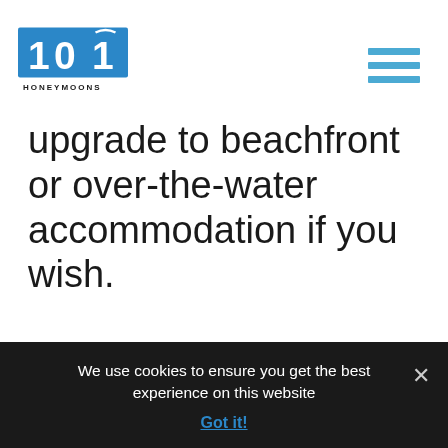[Figure (logo): 101 Honeymoons logo — stylized numerals 1, 0, 1 in white on blue background with text HONEYMOONS below]
upgrade to beachfront or over-the-water accommodation if you wish.
If wildlife is more your thing, our India Adventure and Maldives trip is perfect. We'll take you on jeep safaris in the Pench and Kanha National Parks, on an
We use cookies to ensure you get the best experience on this website
Got it!